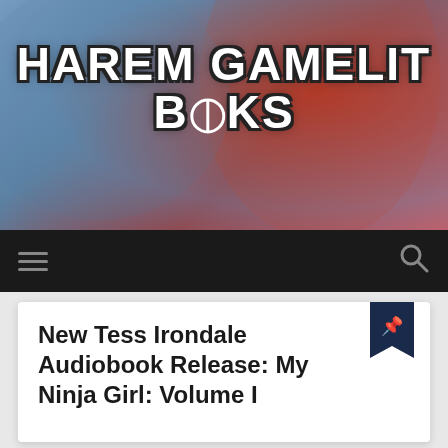[Figure (illustration): Website header banner with anime-style red-haired girl illustration and blue background]
HAREM GAMELIT BOOKS
[Figure (screenshot): Dark navigation bar with hamburger menu icon on left and search icon on right]
New Tess Irondale Audiobook Release: My Ninja Girl: Volume I
[Figure (illustration): Audiobook cover art with Podium publisher badge, author GIDEON CALDWELL, performed by TESS IRONDALE]